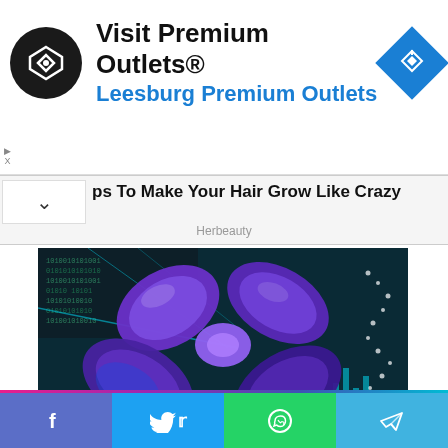[Figure (logo): Advertisement banner: Visit Premium Outlets® / Leesburg Premium Outlets with circular black logo and blue diamond map icon]
ps To Make Your Hair Grow Like Crazy
Herbeauty
[Figure (photo): 3D illustration of a chromosome (X-shaped, purple/blue glowing) on a dark teal digital background with binary code and DNA-related graphics]
Women Inventions Credited To Men: It's Not As Easy As It Looks
[Figure (infographic): Social sharing footer with Facebook (blue-purple), Twitter (blue), WhatsApp (green), and Telegram (light blue) buttons]